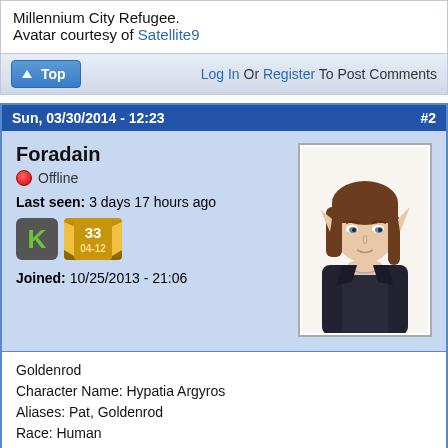Millennium City Refugee.
Avatar courtesy of Satellite9
Log In Or Register To Post Comments
Sun, 03/30/2014 - 12:23  #2
Foradain
Offline
Last seen: 3 days 17 hours ago
Joined: 10/25/2013 - 21:06
[Figure (illustration): Anime-style elf character with brown hair and pointed ears, wearing dark jacket, avatar portrait]
Goldenrod
Character Name: Hypatia Argyros
Aliases: Pat, Goldenrod
Race: Human
Gender: Female
Profession: Librarian, Central Library, Alexandria